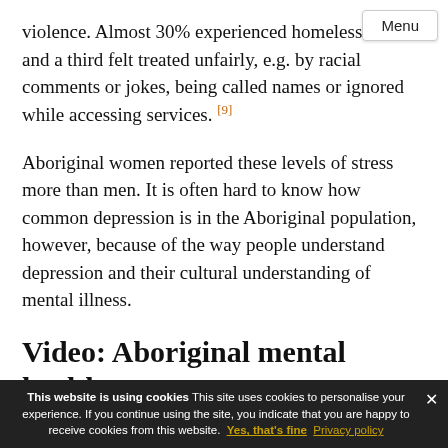violence. Almost 30% experienced homelessness and a third felt treated unfairly, e.g. by racial comments or jokes, being called names or ignored while accessing services. [9]
Aboriginal women reported these levels of stress more than men. It is often hard to know how common depression is in the Aboriginal population, however, because of the way people understand depression and their cultural understanding of mental illness.
Video: Aboriginal mental health
Learn how culture and spirituality affect the mental health of Aboriginal people in this 9-minute video by
Menu
This website is using cookies This site uses cookies to personalise your experience. If you continue using the site, you indicate that you are happy to receive cookies from this website. Yes, that's fine Privacy policy